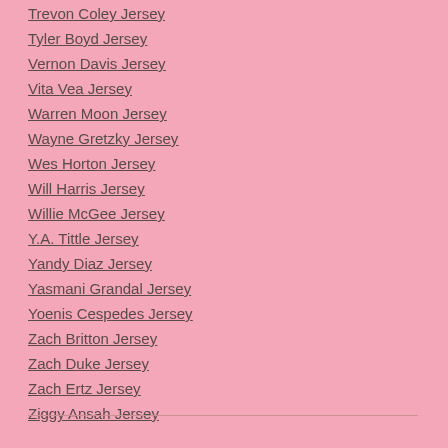Trevon Coley Jersey
Tyler Boyd Jersey
Vernon Davis Jersey
Vita Vea Jersey
Warren Moon Jersey
Wayne Gretzky Jersey
Wes Horton Jersey
Will Harris Jersey
Willie McGee Jersey
Y.A. Tittle Jersey
Yandy Diaz Jersey
Yasmani Grandal Jersey
Yoenis Cespedes Jersey
Zach Britton Jersey
Zach Duke Jersey
Zach Ertz Jersey
Ziggy Ansah Jersey